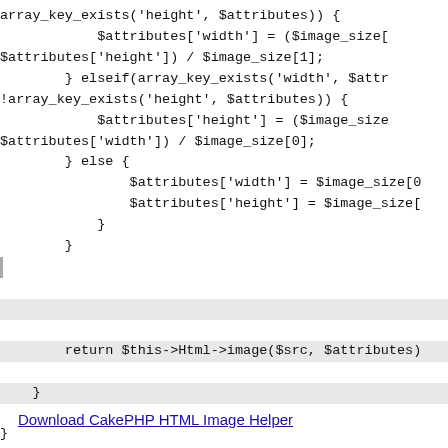array_key_exists('height', $attributes)) {
            $attributes['width'] = ($image_size[
$attributes['height']) / $image_size[1];
        } elseif(array_key_exists('width', $attr
!array_key_exists('height', $attributes)) {
            $attributes['height'] = ($image_size
$attributes['width']) / $image_size[0];
        } else {
                $attributes['width'] = $image_size[0
                $attributes['height'] = $image_size[
            }
        }

|
[highlighted]
        return $this->Html->image($src, $attributes)
    }
}
Download CakePHP HTML Image Helper